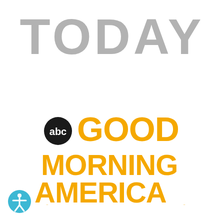[Figure (logo): TODAY show logo in large bold gray capital letters]
[Figure (logo): ABC Good Morning America logo with ABC circle badge in black/white, and 'GOOD MORNING AMERICA' in gold/yellow bold text with a gold swoosh underline]
[Figure (logo): Accessibility icon: teal circle with white human figure with outstretched arms]